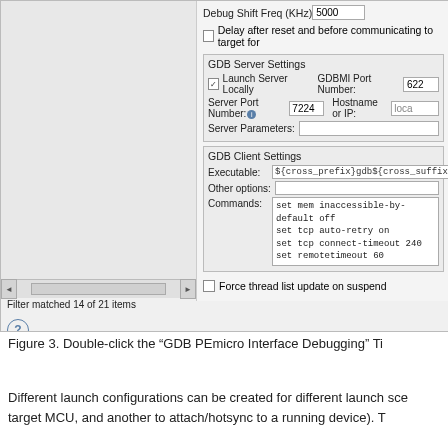[Figure (screenshot): Screenshot of an IDE debug configuration panel showing GDB Server Settings and GDB Client Settings with fields for Debug Shift Freq, Launch Server Locally, GDBMI Port Number, Server Port Number, Hostname or IP, Server Parameters, Executable, Other options, Commands, and Force thread list update on suspend. Also shows scrollbar and filter text 'Filter matched 14 of 21 items'.]
Figure 3. Double-click the “GDB PEmicro Interface Debugging” Ti
Different launch configurations can be created for different launch sce target MCU, and another to attach/hotsync to a running device). T